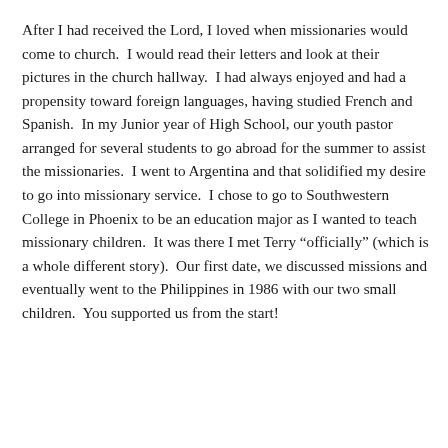After I had received the Lord, I loved when missionaries would come to church.  I would read their letters and look at their pictures in the church hallway.  I had always enjoyed and had a propensity toward foreign languages, having studied French and Spanish.  In my Junior year of High School, our youth pastor arranged for several students to go abroad for the summer to assist the missionaries.  I went to Argentina and that solidified my desire to go into missionary service.  I chose to go to Southwestern College in Phoenix to be an education major as I wanted to teach missionary children.  It was there I met Terry “officially” (which is a whole different story).  Our first date, we discussed missions and eventually went to the Philippines in 1986 with our two small children.  You supported us from the start!